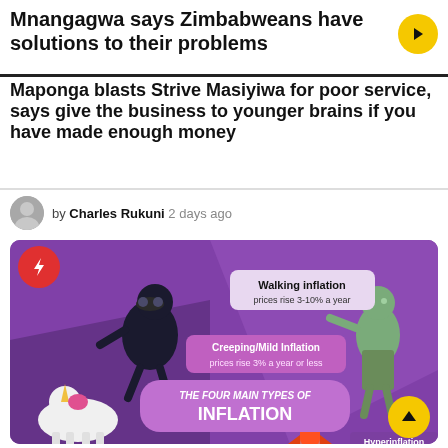Mnangagwa says Zimbabweans have solutions to their problems
Maponga blasts Strive Masiyiwa for poor service, says give the business to younger brains if you have made enough money
by Charles Rukuni 2 days ago
[Figure (infographic): Infographic showing The Four Main Types of Inflation with cartoon characters: a burglar for Creeping/Mild Inflation (prices rise 3% a year or less), a walking figure for Walking Inflation (prices rise 3-10% a year), a zombie, a unicorn, a rocket, and text at bottom: Hyperinflation. Center text reads: THE FOUR MAIN TYPES OF INFLATION]